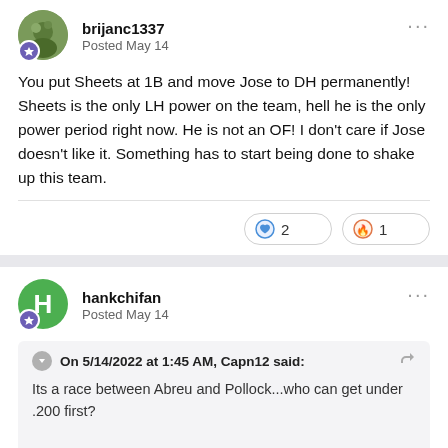brijanc1337 — Posted May 14
You put Sheets at 1B and move Jose to DH permanently! Sheets is the only LH power on the team, hell he is the only power period right now. He is not an OF! I don't care if Jose doesn't like it. Something has to start being done to shake up this team.
❤️ 2   🔥 1
hankchifan — Posted May 14
On 5/14/2022 at 1:45 AM, Capn12 said:
Its a race between Abreu and Pollock...who can get under .200 first?

You can't make this stuff up, the 3rd highest BA in the lineup